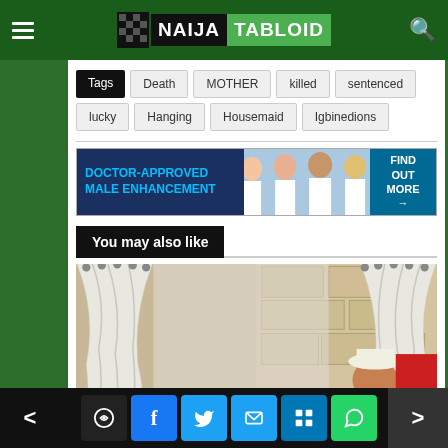NAIJA TABLOID
Tags: Death, MOTHER, killed, sentenced, lucky, Hanging, Housemaid, Igbinedions
[Figure (photo): Doctor-Approved Male Enhancement advertisement banner with group of medical professionals]
You may also like
[Figure (photo): Article thumbnail showing curtains and a person in a hat]
Navigation: previous, comment, facebook, twitter, email, linkedin, whatsapp, next